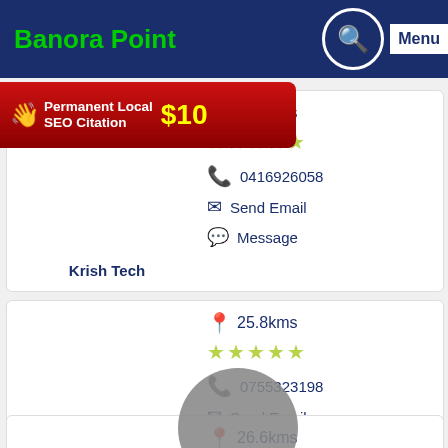Banora Point
[Figure (screenshot): Ad banner: Permanent Local SEO Citation $10]
Krish Tech – 25.5kms – 0416926058 – Send Email – Message
Tech Pros Phone Repairs and Sales – 25.8kms – 0755323198 – Send Email
26.6kms (partial listing)